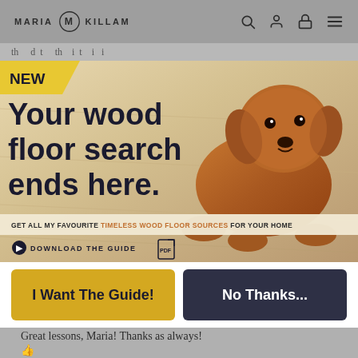MARIA KILLAM
[Figure (screenshot): Promotional banner for Maria Killam wood floor guide featuring a golden doodle puppy lying on a light wood floor. Text reads 'Your wood floor search ends here.' with a NEW badge in yellow. Sub-text: 'GET ALL MY FAVOURITE TIMELESS WOOD FLOOR SOURCES FOR YOUR HOME' and 'DOWNLOAD THE GUIDE' with a PDF icon.]
I Want The Guide!
No Thanks...
Great lessons, Maria! Thanks as always!